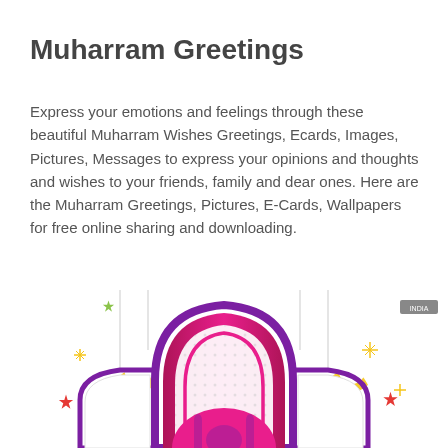Muharram Greetings
Express your emotions and feelings through these beautiful Muharram Wishes Greetings, Ecards, Images, Pictures, Messages to express your opinions and thoughts and wishes to your friends, family and dear ones. Here are the Muharram Greetings, Pictures, E-Cards, Wallpapers for free online sharing and downloading.
[Figure (illustration): Decorative Muharram/Islamic greeting card illustration with a mosque arch in pink and purple gradient, crescent moons in yellow, colorful stars and sparkles on a white background.]